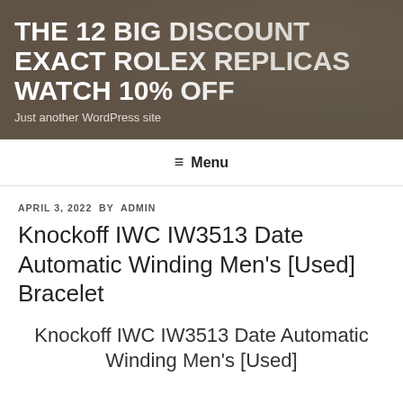THE 12 BIG DISCOUNT EXACT ROLEX REPLICAS WATCH 10% OFF
Just another WordPress site
≡ Menu
APRIL 3, 2022 BY ADMIN
Knockoff IWC IW3513 Date Automatic Winding Men's [Used] Bracelet
Knockoff IWC IW3513 Date Automatic Winding Men's [Used]